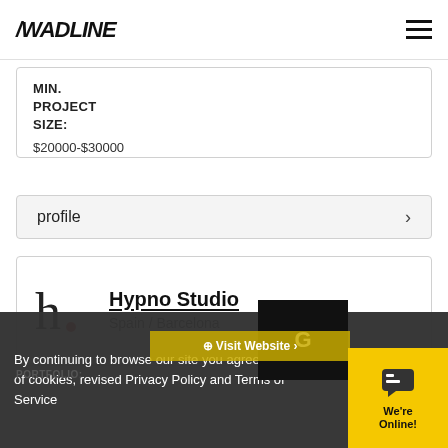/WADLINE
MIN.
PROJECT
SIZE:
$20000-$30000
profile
Hypno Studio
Spain / Barcelona
PORTFOLIO:
By continuing to browse our site you agree to our use of cookies, revised Privacy Policy and Terms of Service